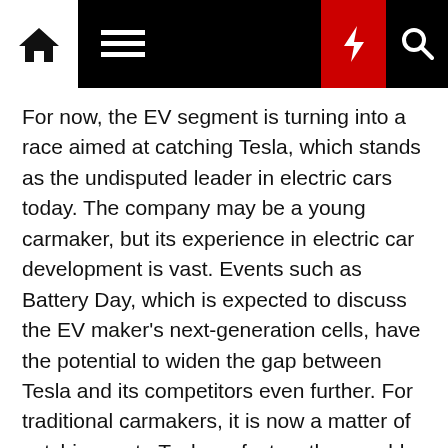[Navigation bar with home, menu, dark mode, lightning/breaking news, and search icons]
For now, the EV segment is turning into a race aimed at catching Tesla, which stands as the undisputed leader in electric cars today. The company may be a young carmaker, but its experience in electric car development is vast. Events such as Battery Day, which is expected to discuss the EV maker's next-generation cells, have the potential to widen the gap between Tesla and its competitors even further. For traditional carmakers, it is now a matter of catching up to Tesla as fast as they could. But it won't be easy.
In a statement to the Times, Jürgen Fleischer, a professor at the Karlsruhe Institute of Technology in southwestern Germany who is working on battery manufacturing research, noted that there will be a steep learning curve for veteran automakers that are dipping their feet into electric cars. "We have been